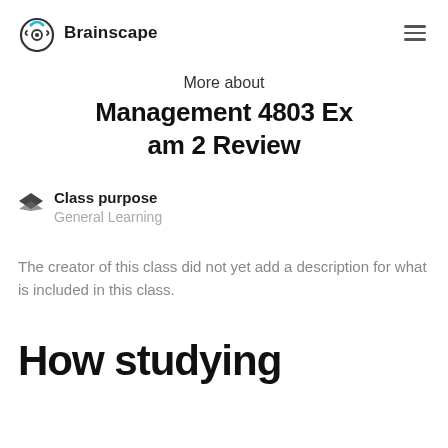Brainscape
More about
Management 4803 Exam 2 Review
Class purpose
General Learning
The creator of this class did not yet add a description for what is included in this class.
How studying